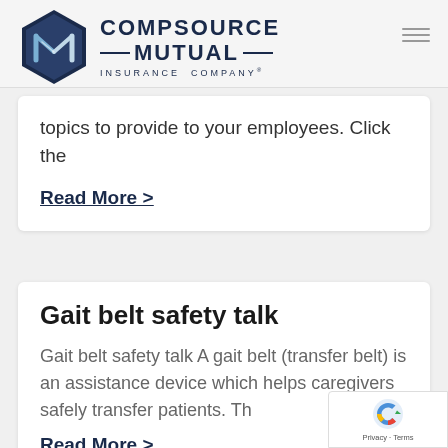CompSource Mutual Insurance Company
topics to provide to your employees. Click the
Read More >
Gait belt safety talk
Gait belt safety talk A gait belt (transfer belt) is an assistance device which helps caregivers safely transfer patients. Th
Read More >